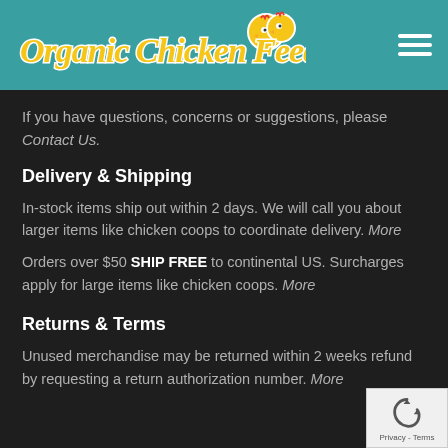Organic Chicken Feed
If you have questions, concerns or suggestions, please Contact Us.
Delivery & Shipping
In-stock items ship out within 2 days. We will call you about larger items like chicken coops to coordinate delivery. More
Orders over $50 SHIP FREE to continental US. Surcharges apply for large items like chicken coops. More
Returns & Terms
Unused merchandise may be returned within 2 weeks refund by requesting a return authorization number. More